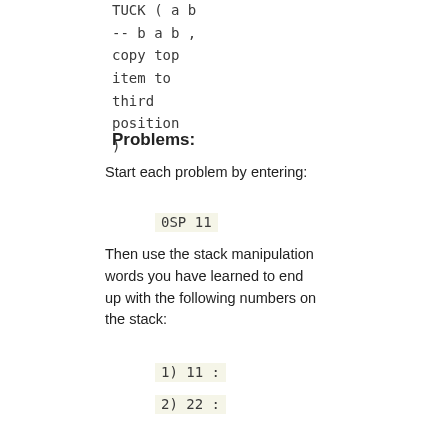TUCK ( a b -- b a b , copy top item to third position )
Problems:
Start each problem by entering:
0SP 11
Then use the stack manipulation words you have learned to end up with the following numbers on the stack:
1) 11 :
2) 22 :